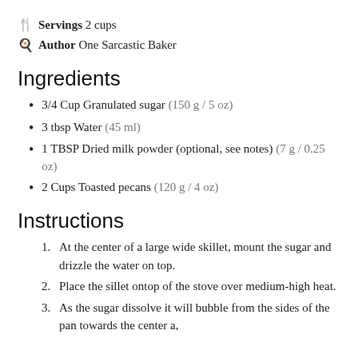🍴 Servings 2 cups
👨‍🍳 Author One Sarcastic Baker
Ingredients
3/4 Cup Granulated sugar (150 g / 5 oz)
3 tbsp Water (45 ml)
1 TBSP Dried milk powder (optional, see notes) (7 g / 0.25 oz)
2 Cups Toasted pecans (120 g / 4 oz)
Instructions
At the center of a large wide skillet, mount the sugar and drizzle the water on top.
Place the sillet ontop of the stove over medium-high heat.
As the sugar dissolve it will bubble from the sides of the pan towards the center a,